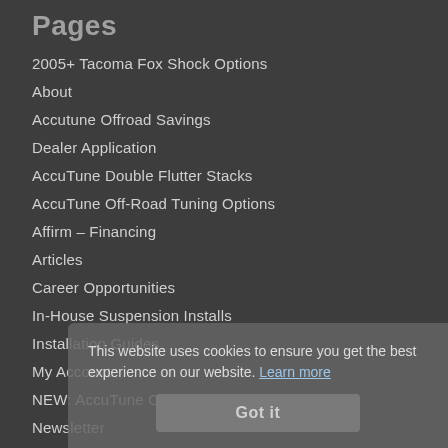Pages
2005+ Tacoma Fox Shock Options
About
Accutune Offroad Savings
Dealer Application
AccuTune Double Flutter Stacks
AccuTune Off-Road Tuning Options
Affirm – Financing
Articles
Career Opportunities
In-House Suspension Installs
Installation Guides
My Account
NEW: AccuTune Offroad Upper Control Arms
Newsletter
Privacy Policy
Shipping Support
This website uses cookies to ensure you get the best experience on our website. Learn more
Got it